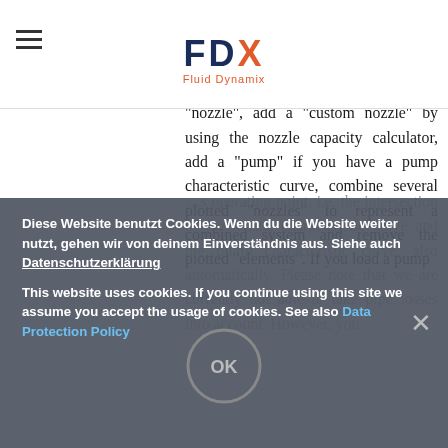[Figure (logo): FDX Fluid Dynamix logo with hamburger menu icon]
thousand words. Therefore we offer you here the ability to display nozzle characteristics graphically. To the right of the diagram you can add a (standard) "nozzle", add a "custom nozzle" by using the nozzle capacity calculator, add a "pump" if you have a pump characteristic curve, combine several plotted "nozzles" to represent a combined system and remove the plotted "elements". If you load a pump
...s operating point, i.e. the intersection of the nozzle characteristic curve and the pump characteristic curve, also automatically. Please note that we are currently not able to take pipe losses into account. However, you
Diese Website benutzt Cookies. Wenn du die Website weiter nutzt, gehen wir von deinem Einverständnis aus. Siehe auch Datenschutzerklärung
This website uses cookies. If you continue using this site we assume you accept the usage of cookies. See also Data Protection Policy